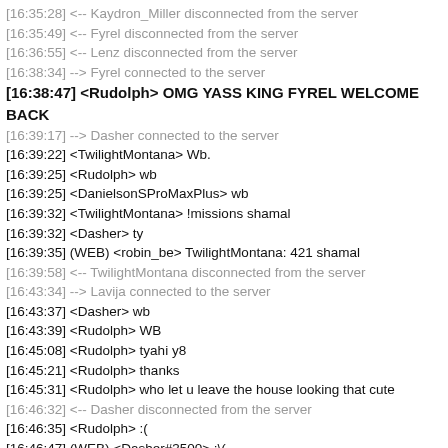[16:35:28] <-- Kaydron_Miller disconnected from the server
[16:35:49] <-- Fyrel disconnected from the server
[16:36:55] <-- Lenz disconnected from the server
[16:38:34] --> Fyrel connected to the server
[16:38:47] <Rudolph> OMG YASS KING FYREL WELCOME BACK
[16:39:17] --> Dasher connected to the server
[16:39:22] <TwilightMontana> Wb.
[16:39:25] <Rudolph> wb
[16:39:25] <DanielsonSProMaxPlus> wb
[16:39:32] <TwilightMontana> !missions shamal
[16:39:32] <Dasher> ty
[16:39:35] (WEB) <robin_be> TwilightMontana: 421 shamal
[16:39:58] <-- TwilightMontana disconnected from the server
[16:43:34] --> Lavija connected to the server
[16:43:37] <Dasher> wb
[16:43:39] <Rudolph> WB
[16:45:08] <Rudolph> tyahi y8
[16:45:21] <Rudolph> thanks
[16:45:31] <Rudolph> who let u leave the house looking that cute
[16:46:32] <-- Dasher disconnected from the server
[16:46:35] <Rudolph> :(
[16:46:47] (WEB) <Dasher#3500> :\(
[16:47:00] <Rudolph> when did ipro get sponsor
[16:47:05] <Rudolph> !player ipro